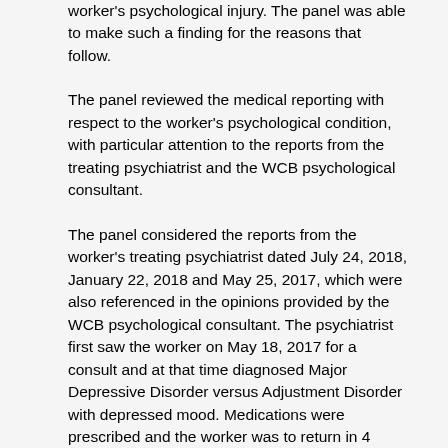worker's psychological injury. The panel was able to make such a finding for the reasons that follow.
The panel reviewed the medical reporting with respect to the worker's psychological condition, with particular attention to the reports from the treating psychiatrist and the WCB psychological consultant.
The panel considered the reports from the worker's treating psychiatrist dated July 24, 2018, January 22, 2018 and May 25, 2017, which were also referenced in the opinions provided by the WCB psychological consultant. The psychiatrist first saw the worker on May 18, 2017 for a consult and at that time diagnosed Major Depressive Disorder versus Adjustment Disorder with depressed mood. Medications were prescribed and the worker was to return in 4 weeks for follow-up. The January 22, 2018 report outlines that the worker did not follow-up as expected, but continued to see his family physician, and then returned for follow-up late in 2017. At that time the worker reported not doing very well with symptoms including anxiety and fearfulness, irritability and feeling unsafe at work, flashbacks about past incidents at work, hypervigilant nightmares and more. The psychiatrist then